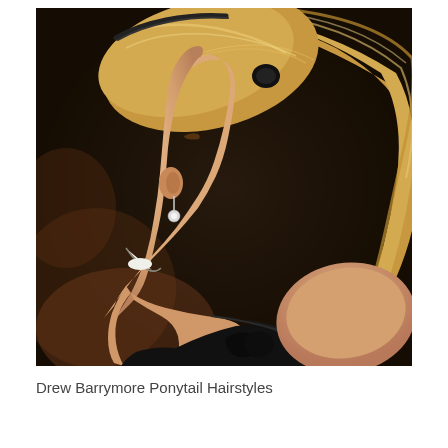[Figure (photo): A woman with long blonde hair styled in a high ponytail, wearing a black halter dress with a bow, photographed from a side profile angle. She is laughing and wearing a dangling earring. Dark background.]
Drew Barrymore Ponytail Hairstyles